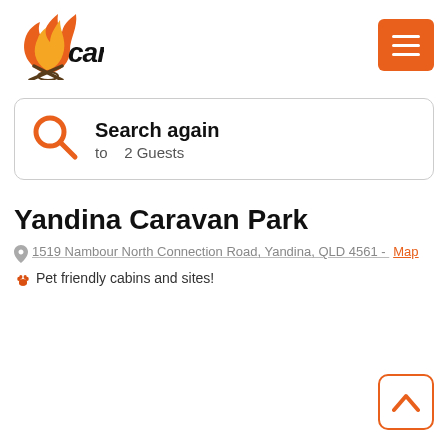[Figure (logo): Campstay logo with flame icon and campfire crossed sticks, italic handwritten-style text reading 'campstay']
[Figure (other): Orange hamburger menu button (three horizontal white lines on orange background)]
Search again
to   2 Guests
Yandina Caravan Park
1519 Nambour North Connection Road, Yandina, QLD 4561 - Map
🐾 Pet friendly cabins and sites!
[Figure (other): Back to top button: orange chevron up arrow inside orange rounded square border]